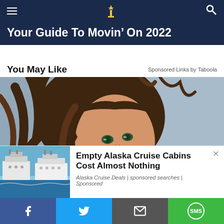Navigation bar with hamburger menu, logo, and search icon
Your Guide To Movin’ On 2022
You May Like
Sponsored Links by Taboola
[Figure (photo): Smiling brunette woman with windswept hair, laughing, close-up portrait shot]
[Figure (photo): Advertisement: Empty Alaska Cruise Cabins Cost Almost Nothing — Alaska Cruise Deals | sponsored searches | Sponsored. Thumbnail image of cruise ships.]
Share bar: Facebook, Twitter, Email, SMS